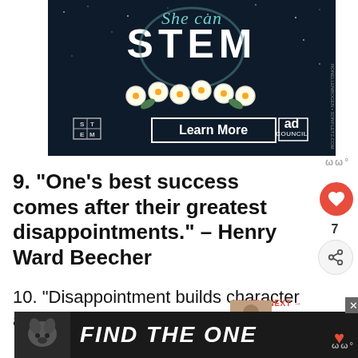[Figure (illustration): She Can STEM advertisement banner with astronaut helmet, flowers, Learn More button, and Ad Council branding on dark background]
ωω°
9. “One’s best success comes after their greatest disappointments.” – Henry Ward Beecher
7
10. “Disappointment builds character and strength.” – Nafessa Williams
WHAT'S NEXT → When You Love...
[Figure (illustration): Find The One pet adoption advertisement banner with dog image on dark background]